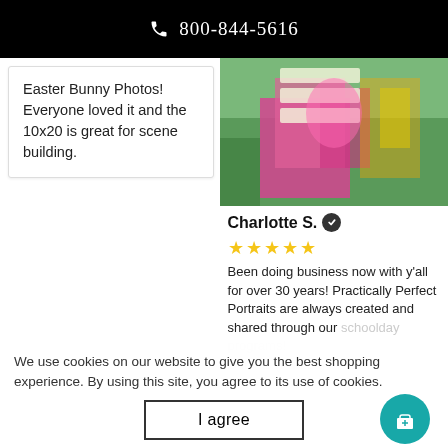800-844-5616
Easter Bunny Photos! Everyone loved it and the 10x20 is great for scene building.
[Figure (photo): Photo of a child in a pink dress standing near a white wooden fence with colorful flowers in the background.]
Charlotte S.
★★★★★
Been doing business now with y'all for over 30 years!  Practically Perfect Portraits are always created and shared through our schoolday programs! Canvas (Printed) /
We use cookies on our website to give you the best shopping experience. By using this site, you agree to its use of cookies.
I agree